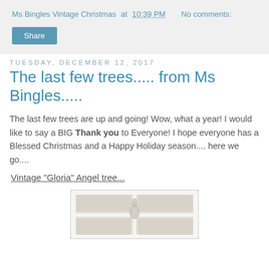Ms Bingles Vintage Christmas at 10:39 PM   No comments:
Tuesday, December 12, 2017
The last few trees..... from Ms Bingles.....
The last few trees are up and going! Wow, what a year! I would like to say a BIG Thank you to Everyone! I hope everyone has a Blessed Christmas and a Happy Holiday season.... here we go....
Vintage "Gloria" Angel tree...
[Figure (photo): A white framed window or panel with a small vintage angel Christmas tree decoration visible]